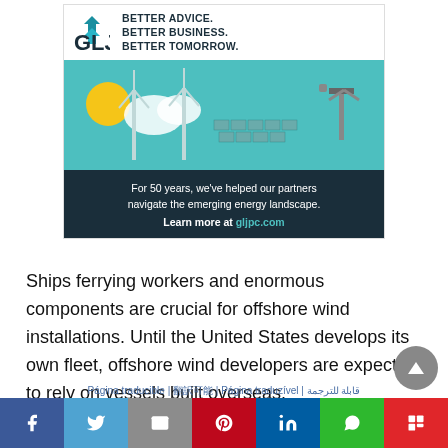[Figure (illustration): GLJ advertisement banner showing logo with tagline 'BETTER ADVICE. BETTER BUSINESS. BETTER TOMORROW.' and illustration of wind turbines, solar panels, and oil rigs on teal background with text 'For 50 years, we've helped our partners navigate the emerging energy landscape. Learn more at gljpc.com']
Ships ferrying workers and enormous components are crucial for offshore wind installations. Until the United States develops its own fleet, offshore wind developers are expected to rely on vessels built overseas.
Página traducible | 翻訳可能 | Página traduzível | قابلة للترجمة
[Figure (other): Social media share buttons: Facebook, Twitter, Email, Pinterest, LinkedIn, WhatsApp, Flipboard]